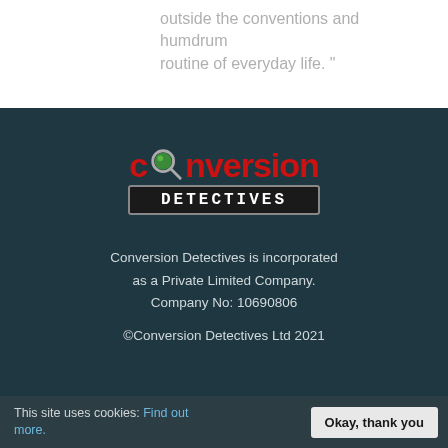...and my love of all that is bizarre and outside the conventions and humdrum routine of everyday life."
[Figure (logo): Conversion Detectives logo: red 'conversion' text with magnifying glass icon and dark box with white 'DETECTIVES' text]
Conversion Detectives is incorporated as a Private Limited Company. Company No: 10690806
©Conversion Detectives Ltd 2021
This site uses cookies: Find out more. | Okay, thank you